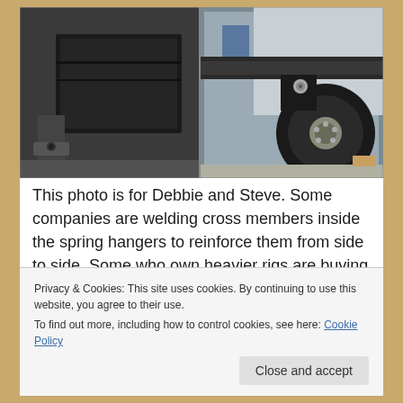[Figure (photo): Close-up photograph of trailer undercarriage showing spring hangers, cross members, and a wheel/tire assembly, taken from below the trailer.]
This photo is for Debbie and Steve. Some companies are welding cross members inside the spring hangers to reinforce them from side to side. Some who own heavier rigs are buying bolt on beams that run under the trailer from one side
Privacy & Cookies: This site uses cookies. By continuing to use this website, you agree to their use.
To find out more, including how to control cookies, see here: Cookie Policy